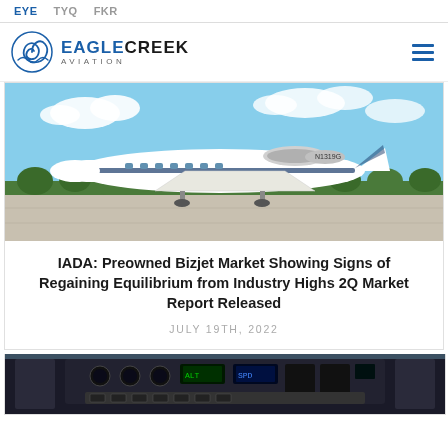EYE  TYQ  FKR
[Figure (logo): Eagle Creek Aviation logo with spiral graphic and text EAGLECREEK AVIATION]
[Figure (photo): White business jet (Cessna Citation) on airport tarmac with blue sky and trees in background]
IADA: Preowned Bizjet Market Showing Signs of Regaining Equilibrium from Industry Highs 2Q Market Report Released
JULY 19TH, 2022
[Figure (photo): Cockpit interior of small aircraft showing instrument panel and controls]